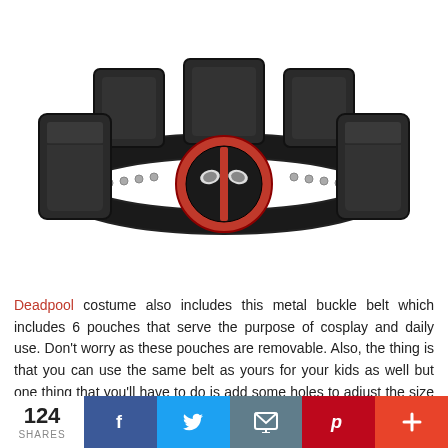[Figure (photo): Deadpool costume utility belt with 6 black leather pouches and a red-and-black Deadpool logo metal belt buckle in the center]
Deadpool costume also includes this metal buckle belt which includes 6 pouches that serve the purpose of cosplay and daily use. Don't worry as these pouches are removable. Also, the thing is that you can use the same belt as yours for your kids as well but one thing that you'll have to do is add some holes to adjust the size of your kid.
124 SHARES | Facebook | Twitter | Email | Pinterest | Plus